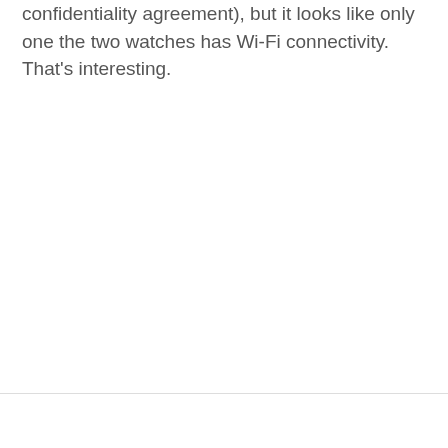confidentiality agreement), but it looks like only one the two watches has Wi-Fi connectivity. That's interesting.